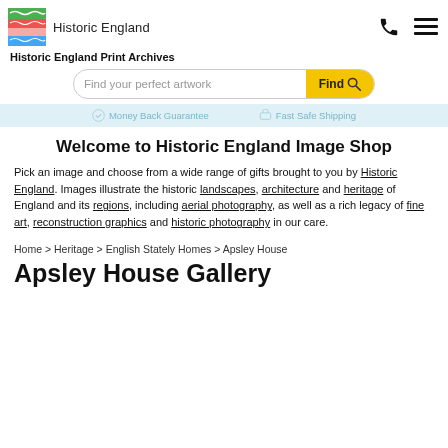Historic England
Historic England Print Archives
[Figure (screenshot): Search bar with placeholder 'Find your perfect artwork' and yellow Find button with magnifying glass icon]
Money Back Guarantee  Fast Safe Shipping
Welcome to Historic England Image Shop
Pick an image and choose from a wide range of gifts brought to you by Historic England. Images illustrate the historic landscapes, architecture and heritage of England and its regions, including aerial photography, as well as a rich legacy of fine art, reconstruction graphics and historic photography in our care.
Home > Heritage > English Stately Homes > Apsley House
Apsley House Gallery